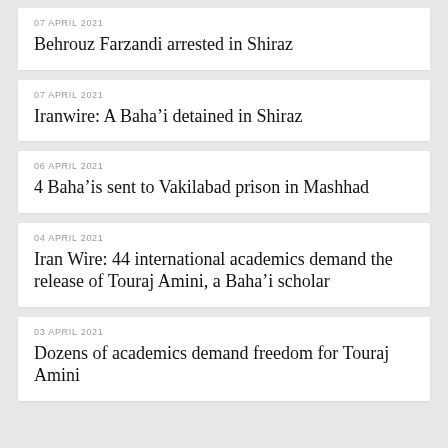07 APRIL 2021
Behrouz Farzandi arrested in Shiraz
07 APRIL 2021
Iranwire: A Baha’i detained in Shiraz
06 APRIL 2021
4 Baha’is sent to Vakilabad prison in Mashhad
04 APRIL 2021
Iran Wire: 44 international academics demand the release of Touraj Amini, a Baha’i scholar
03 APRIL 2021
Dozens of academics demand freedom for Touraj Amini